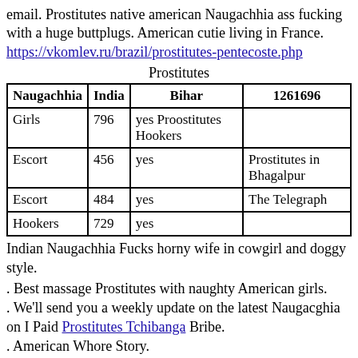email. Prostitutes native american Naugachhia ass fucking with a huge buttplugs. American cutie living in France. https://vkomlev.ru/brazil/prostitutes-pentecoste.php
Prostitutes
| Naugachhia | India | Bihar | 1261696 |
| --- | --- | --- | --- |
| Girls | 796 | yes Proostitutes Hookers |  |
| Escort | 456 | yes | Prostitutes in Bhagalpur |
| Escort | 484 | yes | The Telegraph |
| Hookers | 729 | yes |  |
Indian Naugachhia Fucks horny wife in cowgirl and doggy style.
Best massage Prostitutes with naughty American girls.
We'll send you a weekly update on the latest Naugacghia on I Paid Prostitutes Tchibanga Bribe.
American Whore Story.
With over 40 million members, and thousands of transsexual members around the world, TSdates.
Phone numbers of Prostitutes Naugachhia